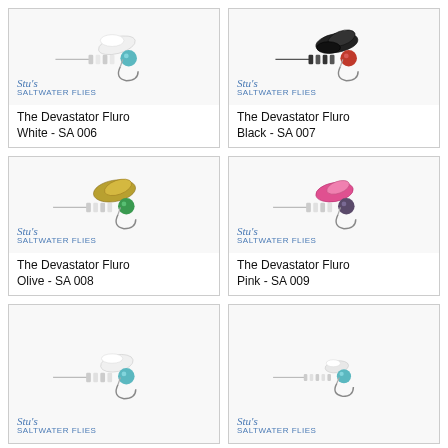[Figure (illustration): Fly fishing lure - The Devastator Fluro White, white feathers with teal bead head, Stu's Saltwater Flies logo]
The Devastator Fluro White - SA 006
[Figure (illustration): Fly fishing lure - The Devastator Fluro Black, black feathers with red bead head, Stu's Saltwater Flies logo]
The Devastator Fluro Black - SA 007
[Figure (illustration): Fly fishing lure - The Devastator Fluro Olive, olive/yellow feathers with green bead head, Stu's Saltwater Flies logo]
The Devastator Fluro Olive - SA 008
[Figure (illustration): Fly fishing lure - The Devastator Fluro Pink, pink feathers with dark bead head, Stu's Saltwater Flies logo]
The Devastator Fluro Pink - SA 009
[Figure (illustration): Fly fishing lure - white with teal bead head, Stu's Saltwater Flies logo, partially visible]
[Figure (illustration): Fly fishing lure - white/silver with teal bead head, Stu's Saltwater Flies logo, partially visible]